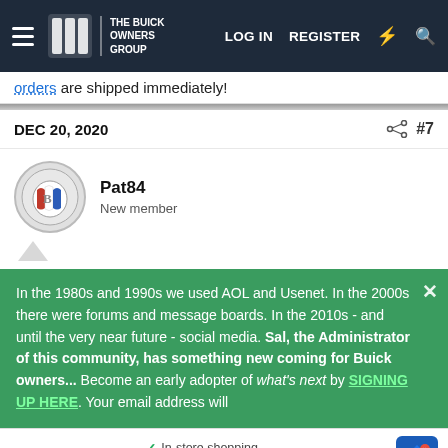THE BUICK OWNERS GROUP | LOG IN | REGISTER
orders are shipped immediately!
DEC 20, 2020   #7
Pat84
New member
In the 1980s and 1990s we used AOL and Usenet. In the 2000s there were forums and message boards. In the 2010s - and until the very near future - social media. Sal, the Administrator of this community, has something new coming for Buick owners... Become an early adopter of what's next by SIGNING UP HERE. Your email address will
✓ In-store shopping  ✓ Curbside pickup  ✓ Delivery